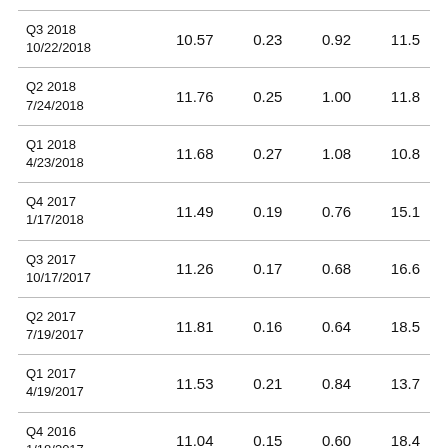| Q3 2018
10/22/2018 | 10.57 | 0.23 | 0.92 | 11.5 |
| Q2 2018
7/24/2018 | 11.76 | 0.25 | 1.00 | 11.8 |
| Q1 2018
4/23/2018 | 11.68 | 0.27 | 1.08 | 10.8 |
| Q4 2017
1/17/2018 | 11.49 | 0.19 | 0.76 | 15.1 |
| Q3 2017
10/17/2017 | 11.26 | 0.17 | 0.68 | 16.6 |
| Q2 2017
7/19/2017 | 11.81 | 0.16 | 0.64 | 18.5 |
| Q1 2017
4/19/2017 | 11.53 | 0.21 | 0.84 | 13.7 |
| Q4 2016
1/18/2017 | 11.04 | 0.15 | 0.60 | 18.4 |